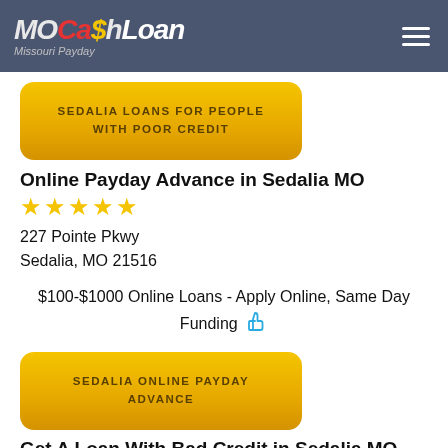MOCashLoan Missouri Payday
[Figure (illustration): Yellow button with text SEDALIA LOANS FOR PEOPLE WITH POOR CREDIT]
Online Payday Advance in Sedalia MO
[Figure (illustration): Five gold star rating]
227 Pointe Pkwy
Sedalia, MO 21516
$100-$1000 Online Loans - Apply Online, Same Day Funding
[Figure (illustration): Yellow button with text SEDALIA ONLINE PAYDAY ADVANCE]
Get A Loan With Bad Credit in Sedalia MO